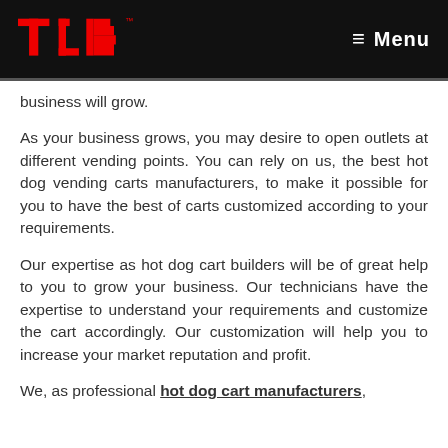TCB — Menu
business will grow.
As your business grows, you may desire to open outlets at different vending points. You can rely on us, the best hot dog vending carts manufacturers, to make it possible for you to have the best of carts customized according to your requirements.
Our expertise as hot dog cart builders will be of great help to you to grow your business. Our technicians have the expertise to understand your requirements and customize the cart accordingly. Our customization will help you to increase your market reputation and profit.
We, as professional hot dog cart manufacturers,